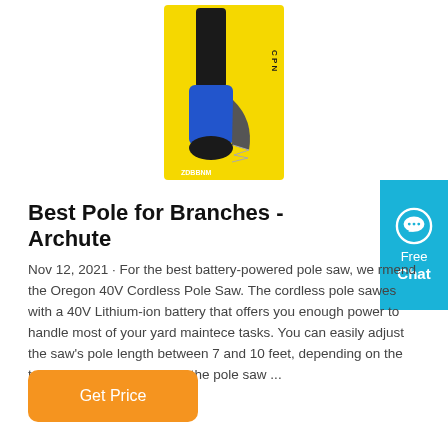[Figure (photo): A pole saw / pruning saw product in yellow and black packaging with a blue handle, shown against a white background.]
Best Pole for Branches - Archute
Nov 12, 2021 · For the best battery-powered pole saw, we rmend the Oregon 40V Cordless Pole Saw. The cordless pole sawes with a 40V Lithium-ion battery that offers you enough power to handle most of your yard maintece tasks. You can easily adjust the saw's pole length between 7 and 10 feet, depending on the task at hand. Furthermore, the pole saw ...
Get Price